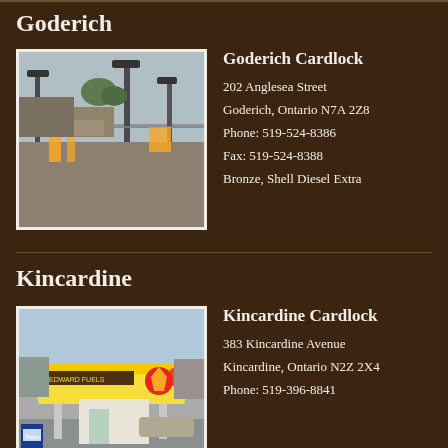Goderich
[Figure (photo): Exterior photo of Goderich Cardlock: fenced fuel station lot with light poles, yellow bollards, and yellow Shell signage, overcast sky]
Goderich Cardlock
202 Anglesea Street
Goderich, Ontario N7A 2Z8
Phone: 519-524-8386
Fax: 519-524-8388
Bronze, Shell Diesel Extra
Kincardine
[Figure (photo): Exterior photo of Kincardine Cardlock: Shell/Edward Fuels branded canopy station with yellow canopy, Shell logo, Pepsi machine on left, small white booth building]
Kincardine Cardlock
383 Kincardine Avenue
Kincardine, Ontario N2Z 2X4
Phone: 519-396-8841